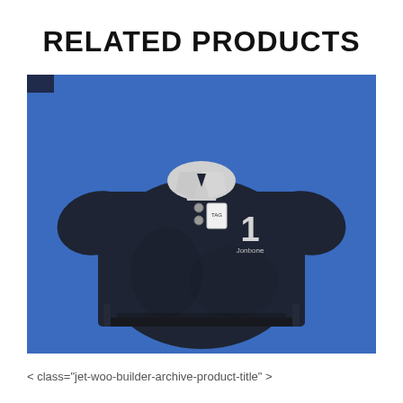RELATED PRODUCTS
[Figure (photo): A dark navy blue polo shirt with white collar laid flat on a blue background. The shirt has a number 1 embroidered on the chest and a price tag attached near the buttons.]
< class="jet-woo-builder-archive-product-title" >